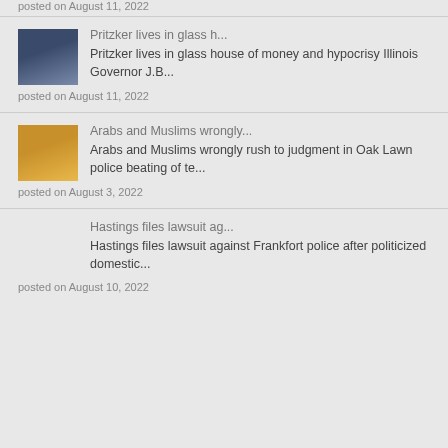posted on August 11, 2022
[Figure (photo): Two people posing together, article thumbnail for Pritzker story]
Pritzker lives in glass h...
Pritzker lives in glass house of money and hypocrisy Illinois Governor J.B...
posted on August 11, 2022
[Figure (photo): Group of people outdoors at night, article thumbnail for Arabs and Muslims story]
Arabs and Muslims wrongly...
Arabs and Muslims wrongly rush to judgment in Oak Lawn police beating of te...
posted on August 3, 2022
Hastings files lawsuit ag...
Hastings files lawsuit against Frankfort police after politicized domestic...
posted on August 10, 2022